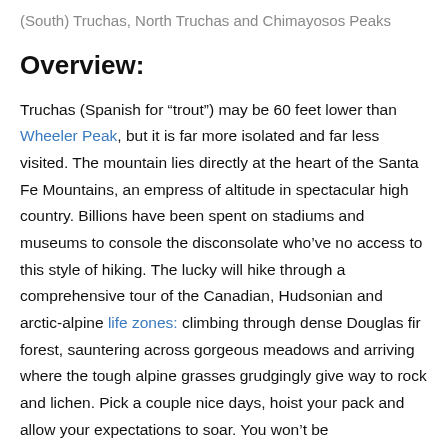(South) Truchas, North Truchas and Chimayosos Peaks
Overview:
Truchas (Spanish for “trout”) may be 60 feet lower than Wheeler Peak, but it is far more isolated and far less visited. The mountain lies directly at the heart of the Santa Fe Mountains, an empress of altitude in spectacular high country. Billions have been spent on stadiums and museums to console the disconsolate who’ve no access to this style of hiking. The lucky will hike through a comprehensive tour of the Canadian, Hudsonian and arctic-alpine life zones: climbing through dense Douglas fir forest, sauntering across gorgeous meadows and arriving where the tough alpine grasses grudgingly give way to rock and lichen. Pick a couple nice days, hoist your pack and allow your expectations to soar. You won’t be